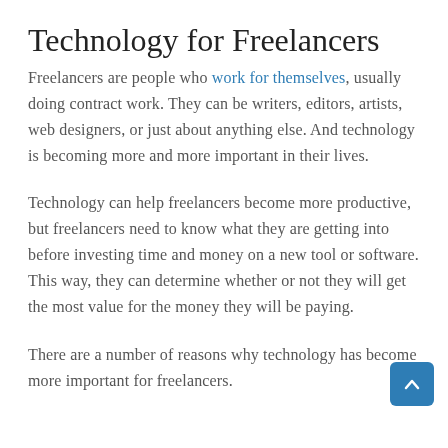Technology for Freelancers
Freelancers are people who work for themselves, usually doing contract work. They can be writers, editors, artists, web designers, or just about anything else. And technology is becoming more and more important in their lives.
Technology can help freelancers become more productive, but freelancers need to know what they are getting into before investing time and money on a new tool or software. This way, they can determine whether or not they will get the most value for the money they will be paying.
There are a number of reasons why technology has become more important for freelancers.